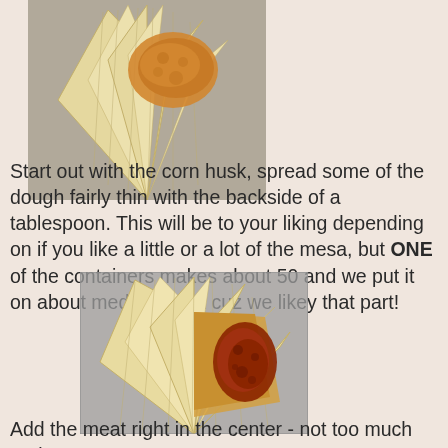[Figure (photo): Corn husk spread open with orange/yellow masa dough spread on it, fanned out on a gray surface]
Start out with the corn husk, spread some of the dough fairly thin with the backside of a tablespoon. This will be to your liking depending on if you like a little or a lot of the mesa, but ONE of the containers makes about 50 and we put it on about medium thick cuz we likey that part!
[Figure (photo): Corn husk spread open fan-shaped with masa dough and red meat filling placed in the center, on a gray surface]
Add the meat right in the center - not too much and